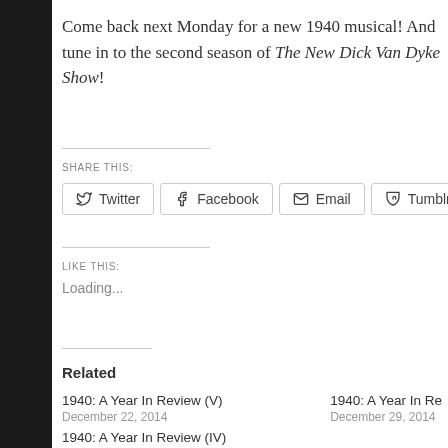Come back next Monday for a new 1940 musical! And tune in to the second season of The New Dick Van Dyke Show!
SHARE THIS:
Twitter Facebook Email Tumblr
LIKE THIS:
Loading...
Related
1940: A Year In Review (V)
December 22, 2014
1940: A Year In Re...
December 29, 2014
1940: A Year In Review (IV)